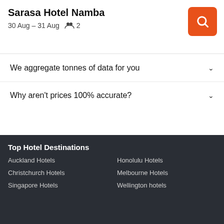Sarasa Hotel Namba
30 Aug – 31 Aug   2
We aggregate tonnes of data for you
Why aren't prices 100% accurate?
Hotels › Hotels in Asia › Hotels in Japan › Hotels in Osaka Prefecture › Osaka Hotels › Sarasa Hotel Namba
Top Hotel Destinations
Auckland Hotels
Honolulu Hotels
Christchurch Hotels
Melbourne Hotels
Singapore Hotels
Wellington hotels